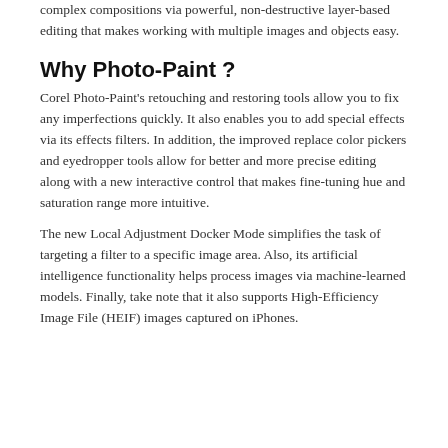complex compositions via powerful, non-destructive layer-based editing that makes working with multiple images and objects easy.
Why Photo-Paint ?
Corel Photo-Paint's retouching and restoring tools allow you to fix any imperfections quickly. It also enables you to add special effects via its effects filters. In addition, the improved replace color pickers and eyedropper tools allow for better and more precise editing along with a new interactive control that makes fine-tuning hue and saturation range more intuitive.
The new Local Adjustment Docker Mode simplifies the task of targeting a filter to a specific image area. Also, its artificial intelligence functionality helps process images via machine-learned models. Finally, take note that it also supports High-Efficiency Image File (HEIF) images captured on iPhones.